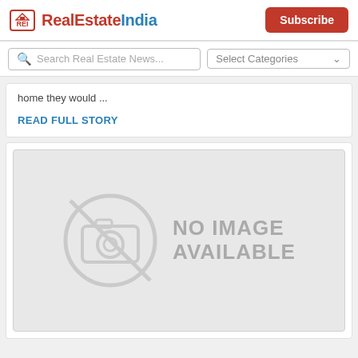RealEstateIndia | Subscribe
home they would ...
READ FULL STORY
[Figure (photo): No image available placeholder with camera icon]